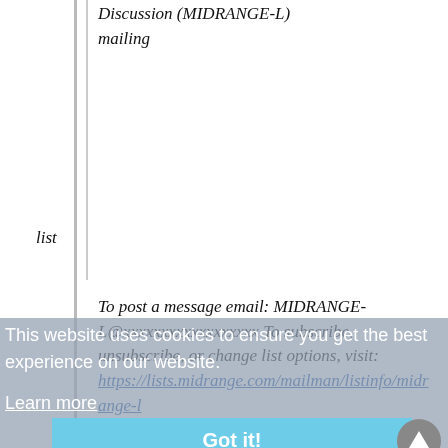Discussion (MIDRANGE-L) mailing
list
To post a message email: MIDRANGE-L@xxxxxxxxxxxxxxxxxx To subscribe, unsubscribe, or change list options, visit: https://lists.midrange.com/mailman/listinfo/midrange-l or email: MIDRANGE-L-request@xxxxxxxxxxxxxxxxxx Before posting, please take a moment to review the archives at https://archive.midrange.com/midrange-l . Please contact support@xxxxxxxxxxxxxxxxxx for any subscription
This website uses cookies to ensure you get the best experience on our website. Learn more
Got it!